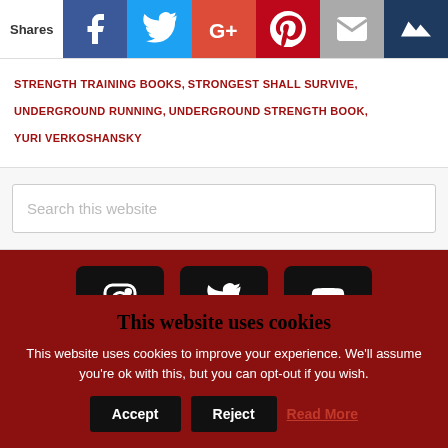[Figure (infographic): Social share bar with Facebook, Twitter, Google+, Pinterest, Email, and crown/Feedly icons]
STRENGTH TRAINING BOOKS, STRONGEST SHALL SURVIVE, UNDERGROUND RUNNING, UNDERGROUND STRENGTH BOOK, YURI VERKOSHANSKY
[Figure (screenshot): Search this website input box]
[Figure (infographic): Three social media icon buttons (Instagram, Twitter, YouTube) on dark red background]
This website uses cookies
This website uses cookies to improve your experience. We'll assume you're ok with this, but you can opt-out if you wish.
Accept   Reject   Read More